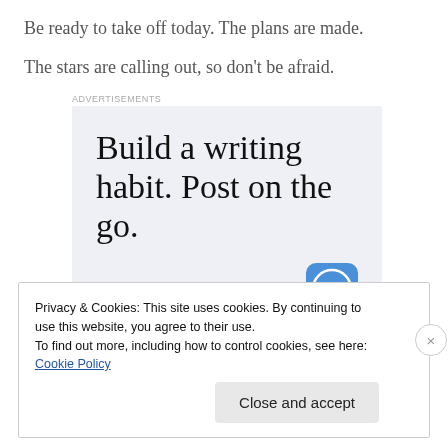Be ready to take off today. The plans are made.
The stars are calling out, so don't be afraid.
Advertisements
[Figure (infographic): WordPress ad: 'Build a writing habit. Post on the go.' with GET THE APP CTA and WordPress logo]
Privacy & Cookies: This site uses cookies. By continuing to use this website, you agree to their use.
To find out more, including how to control cookies, see here: Cookie Policy
Close and accept